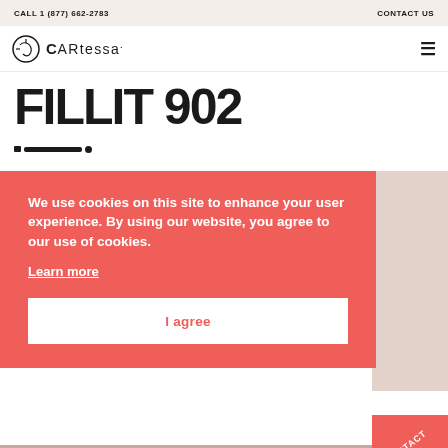CALL 1 (877) 662-2783   CONTACT US
[Figure (logo): Cartessa Aesthetics logo — circular icon with a face line drawing and text 'CARtessa.' in bold]
FILLIT 902
• ————•
We use cookies on this site to enhance your user experience. By using our website, you agree to our use of cookies.
Learn more
I agree